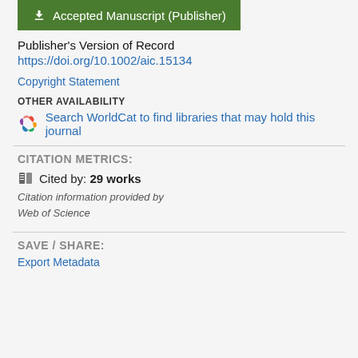Accepted Manuscript (Publisher)
Publisher's Version of Record
https://doi.org/10.1002/aic.15134
Copyright Statement
OTHER AVAILABILITY
Search WorldCat to find libraries that may hold this journal
CITATION METRICS:
Cited by: 29 works
Citation information provided by Web of Science
SAVE / SHARE:
Export Metadata